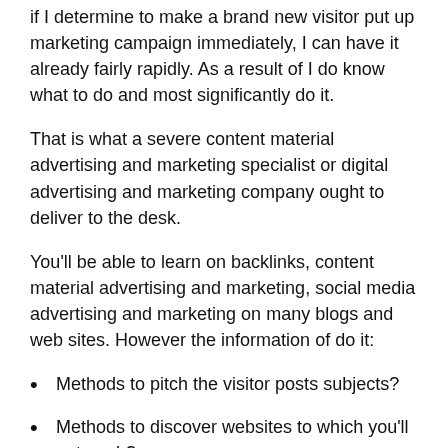if I determine to make a brand new visitor put up marketing campaign immediately, I can have it already fairly rapidly. As a result of I do know what to do and most significantly do it.
That is what a severe content material advertising and marketing specialist or digital advertising and marketing company ought to deliver to the desk.
You'll be able to learn on backlinks, content material advertising and marketing, social media advertising and marketing on many blogs and web sites. However the information of do it:
Methods to pitch the visitor posts subjects?
Methods to discover websites to which you'll outreach?
The place to get emails of the suitable individuals?
How do you have to backlink profile seem like?